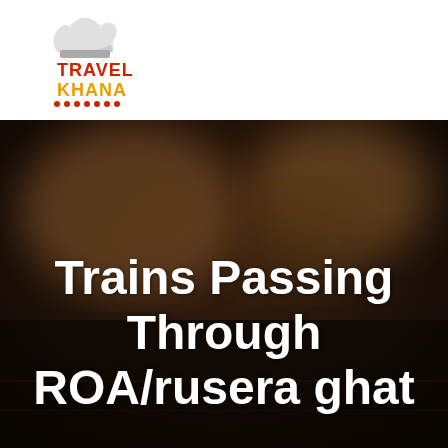[Figure (logo): Travel Khana logo with chef hat icon, 'TRAVEL' in red and 'KHANA' in orange-gold text, with decorative dot pattern below]
[Figure (photo): Blurred dark background photo showing a train interior or station environment with bokeh light effects, dark brown and black tones]
Trains Passing Through ROA/rusera ghat